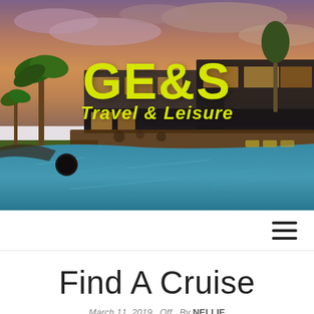[Figure (photo): Aerial/wide-angle photo of a luxury resort with infinity pool reflecting an orange sunset sky, palm trees on the left, modern glass-facade restaurant buildings in background.]
GE&S
Travel & Leisure
[Figure (other): Hamburger menu icon (three horizontal lines) in the navigation bar]
Find A Cruise
March 11, 2019   Off   By NELLIE